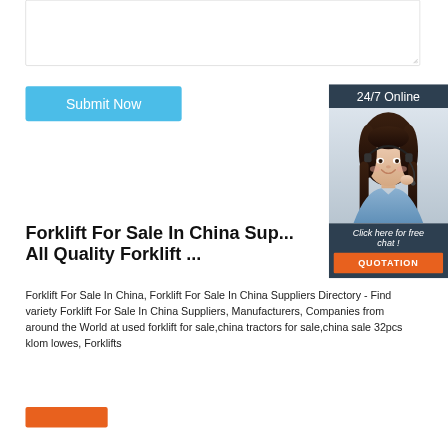[Figure (screenshot): A text area input box with a resize handle in the bottom right corner, on a white background with a light gray border.]
[Figure (screenshot): A blue 'Submit Now' button on the left side.]
[Figure (screenshot): A customer support chat widget on the right side showing '24/7 Online' header, a photo of a smiling woman with a headset, 'Click here for free chat!' text, and an orange 'QUOTATION' button.]
Forklift For Sale In China Sup... All Quality Forklift ...
Forklift For Sale In China, Forklift For Sale In China Suppliers Directory - Find variety Forklift For Sale In China Suppliers, Manufacturers, Companies from around the World at used forklift for sale,china tractors for sale,china sale 32pcs klom lowes, Forklifts